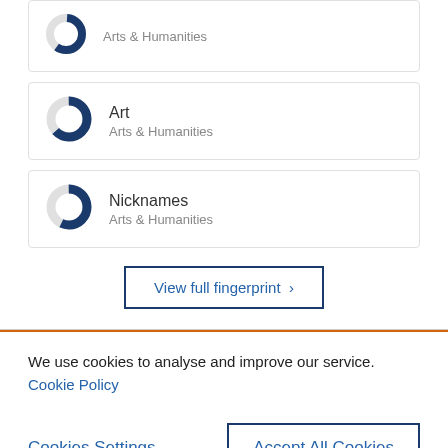[Figure (donut-chart): Partial donut chart showing Arts & Humanities category (top, partially visible)]
[Figure (donut-chart): Donut chart for Art, Arts & Humanities]
Art
Arts & Humanities
[Figure (donut-chart): Donut chart for Nicknames, Arts & Humanities]
Nicknames
Arts & Humanities
View full fingerprint ›
We use cookies to analyse and improve our service. Cookie Policy
Cookies Settings
Accept All Cookies